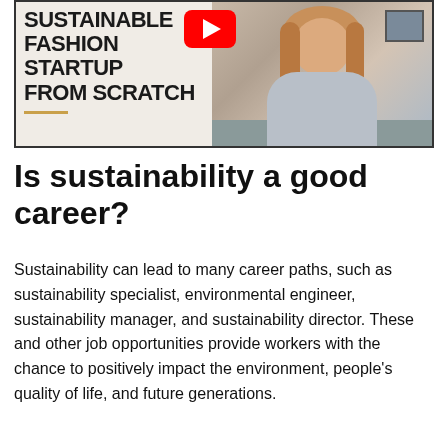[Figure (screenshot): YouTube video thumbnail showing text 'SUSTAINABLE FASHION STARTUP FROM SCRATCH' with a gold underline on the left, a red YouTube play button, and a woman with blonde hair wearing a grey sweater on the right side.]
Is sustainability a good career?
Sustainability can lead to many career paths, such as sustainability specialist, environmental engineer, sustainability manager, and sustainability director. These and other job opportunities provide workers with the chance to positively impact the environment, people's quality of life, and future generations.